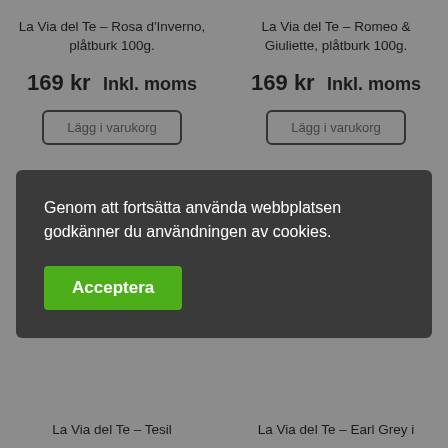La Via del Te – Rosa d'Inverno, plåtburk 100g.
La Via del Te – Romeo & Giuliette, plåtburk 100g.
169 kr  Inkl. moms
169 kr  Inkl. moms
Lägg i varukorg
Lägg i varukorg
Genom att fortsätta använda webbplatsen godkänner du användningen av cookies.
Acceptera
La Via del Te – Tesil
La Via del Te – Earl Grey i